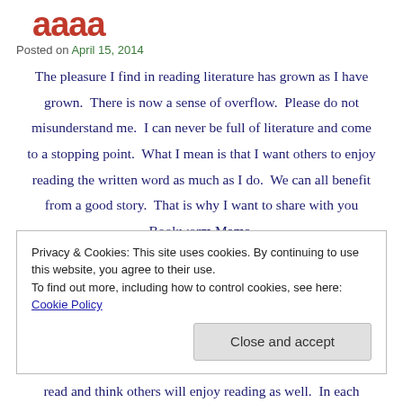Posted on April 15, 2014
The pleasure I find in reading literature has grown as I have grown.  There is now a sense of overflow.  Please do not misunderstand me.  I can never be full of literature and come to a stopping point.  What I mean is that I want others to enjoy reading the written word as much as I do.  We can all benefit from a good story.  That is why I want to share with you Bookworm Mama.
Privacy & Cookies: This site uses cookies. By continuing to use this website, you agree to their use.
To find out more, including how to control cookies, see here: Cookie Policy
read and think others will enjoy reading as well.  In each